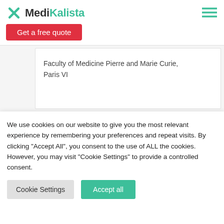MediKalista — Get a free quote
Faculty of Medicine Pierre and Marie Curie, Paris VI
Specialist Diploma in Plastic Surgery,
We use cookies on our website to give you the most relevant experience by remembering your preferences and repeat visits. By clicking "Accept All", you consent to the use of ALL the cookies. However, you may visit "Cookie Settings" to provide a controlled consent.